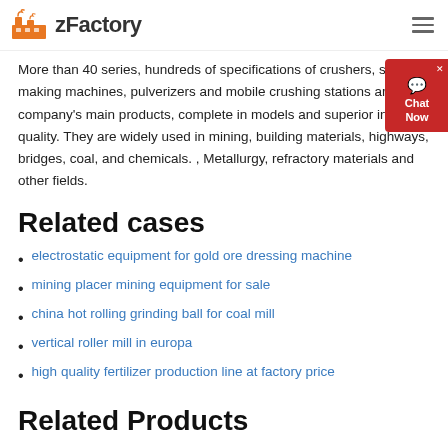zFactory
More than 40 series, hundreds of specifications of crushers, sand making machines, pulverizers and mobile crushing stations are the company's main products, complete in models and superior in quality. They are widely used in mining, building materials, highways, bridges, coal, and chemicals. , Metallurgy, refractory materials and other fields.
Related cases
electrostatic equipment for gold ore dressing machine
mining placer mining equipment for sale
china hot rolling grinding ball for coal mill
vertical roller mill in europa
high quality fertilizer production line at factory price
Related Products
blueprints of stone crusher